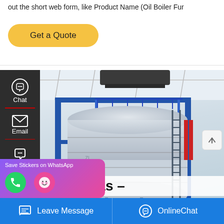out the short web form, like Product Name (Oil Boiler Fur
[Figure (illustration): Yellow rounded 'Get a Quote' button]
[Figure (illustration): Dark sidebar with Chat (headset icon), Email (envelope icon), and Contact (speech bubble icon) navigation links with red dividers]
[Figure (photo): Industrial oil gas boiler in a factory/warehouse setting, large cylindrical silver tank with blue metal framework, pipes, and access ladder]
[Figure (illustration): Scroll up arrow button on right side]
ers oil gas –
[Figure (illustration): WhatsApp sticker save popup with purple-pink gradient background showing phone and emoji icons]
[Figure (illustration): Bottom blue bar with Leave Message (chat icon) and OnlineChat (headset icon) buttons]